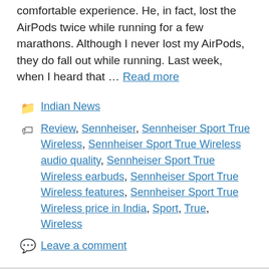comfortable experience. He, in fact, lost the AirPods twice while running for a few marathons. Although I never lost my AirPods, they do fall out while running. Last week, when I heard that … Read more
Categories: Indian News
Tags: Review, Sennheiser, Sennheiser Sport True Wireless, Sennheiser Sport True Wireless audio quality, Sennheiser Sport True Wireless earbuds, Sennheiser Sport True Wireless features, Sennheiser Sport True Wireless price in India, Sport, True, Wireless
Leave a comment